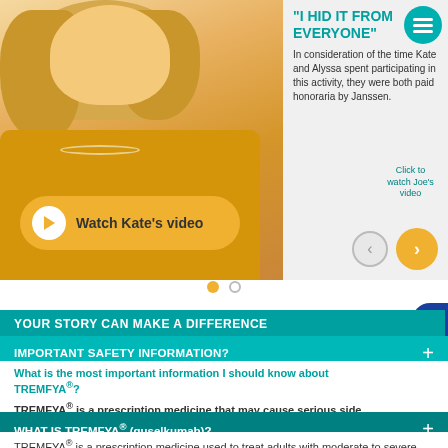[Figure (photo): Woman with curly blonde hair wearing a yellow/mustard top, smiling, with a quote panel to the right reading '"I HID IT FROM EVERYONE"' in teal text]
"I HID IT FROM EVERYONE"
In consideration of the time Kate and Alyssa spent participating in this activity, they were both paid honoraria by Janssen.
Click to watch Joe's video
Watch Kate's video
YOUR STORY CAN MAKE A DIFFERENCE
IMPORTANT SAFETY INFORMATION +
What is the most important information I should know about TREMFYA®?
TREMFYA® is a prescription medicine that may cause serious side
WHAT IS TREMFYA® (guselkumab)? +
TREMFYA® is a prescription medicine used to treat adults with moderate to severe plaque psoriasis who may benefit from taking injections or pills (systemic therapy) or phototherapy (treatment